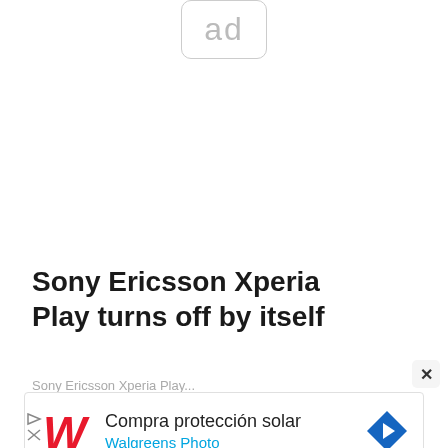[Figure (other): Ad placeholder box with 'ad' text in light gray, rounded rectangle border]
Sony Ericsson Xperia Play turns off by itself
Sony Ericsson Xperia Play...
[Figure (other): Walgreens advertisement banner: Compra protección solar, Walgreens Photo, with Walgreens W logo and navigation arrow icon]